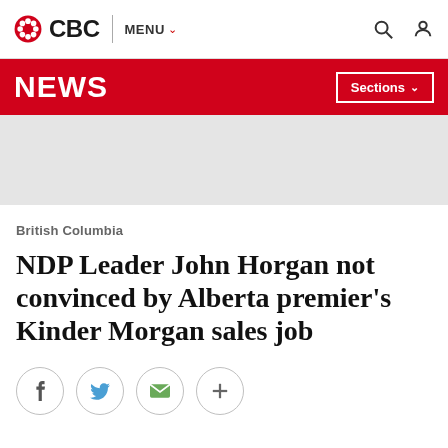CBC | MENU
NEWS | Sections
[Figure (other): Grey advertisement placeholder banner]
British Columbia
NDP Leader John Horgan not convinced by Alberta premier's Kinder Morgan sales job
[Figure (other): Social sharing buttons: Facebook, Twitter, Email, More (+)]